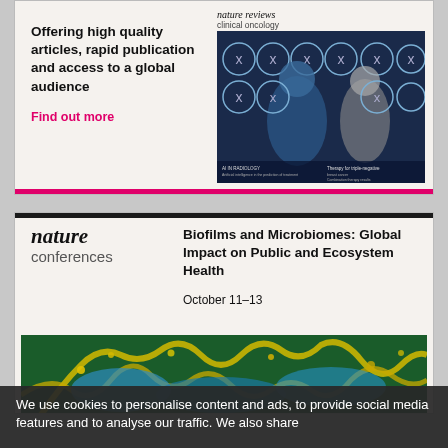[Figure (illustration): Nature Reviews Clinical Oncology journal advertisement showing bold text 'Offering high quality articles, rapid publication and access to a global audience' with 'Find out more' in pink, alongside a journal cover image showing a medical/oncology scene with CT scans. Pink bar at bottom.]
[Figure (illustration): Nature Conferences advertisement for 'Biofilms and Microbiomes: Global Impact on Public and Ecosystem Health, October 11-13' with nature conferences logo and colorful microscopy image of biofilms at the bottom.]
We use cookies to personalise content and ads, to provide social media features and to analyse our traffic. We also share information about your use of our site with our social media, advertising and analytics partners.